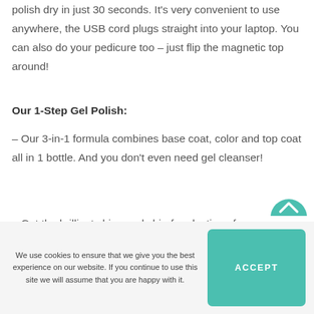polish dry in just 30 seconds. It's very convenient to use anywhere, the USB cord plugs straight into your laptop. You can also do your pedicure too – just flip the magnetic top around!
Our 1-Step Gel Polish:
– Our 3-in-1 formula combines base coat, color and top coat all in 1 bottle. And you don't even need gel cleanser!
– Get the brilliant shine and chip-free lasting of a salon-quality gel manicure at
We use cookies to ensure that we give you the best experience on our website. If you continue to use this site we will assume that you are happy with it.
ACCEPT